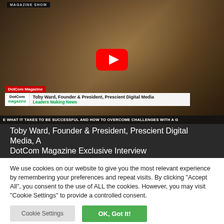[Figure (screenshot): YouTube video thumbnail showing a man in a blazer being interviewed. Lower third shows DotCom Magazine branding with name: Toby Ward, Founder & President, Prescient Digital Media. Subtitle: Leaders Making News. Ticker bar at bottom reads: E WHAT IT TAKES TO BE SUCCESSFUL AND HOW TO OVERCOME CHALLENGES WITH A G]
Toby Ward, Founder & President, Prescient Digital Media, A DotCom Magazine Exclusive Interview
We use cookies on our website to give you the most relevant experience by remembering your preferences and repeat visits. By clicking "Accept All", you consent to the use of ALL the cookies. However, you may visit "Cookie Settings" to provide a controlled consent.